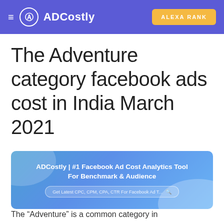≡  ADCostly   ALEXA RANK
The Adventure category facebook ads cost in India March 2021
[Figure (screenshot): ADCostly banner advertisement showing '#1 Facebook Ad Cost Analytics Tool For Benchmark & Audience' with a search bar on a blue gradient background]
The "Adventure" is a common category in